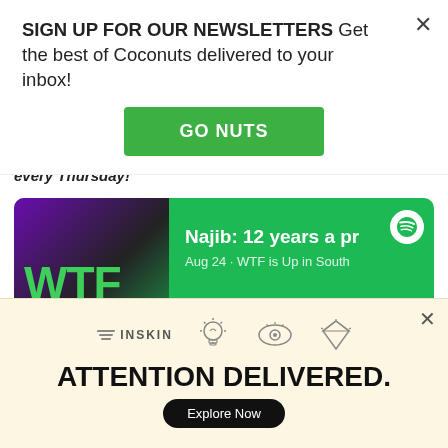SIGN UP FOR OUR NEWSLETTERS Get the best of Coconuts delivered to your inbox!
GO NUTS
trending news and pop culture from the region every Thursday!
[Figure (screenshot): Spotify podcast card for 'WTF is Up in Southeast Asia + Hong Kong by Coconuts' showing episode 'Najib: 12 years a pr...' on Aug 24, with a Follow button on green background]
[Figure (infographic): INSKIN ad banner with icons for lightbulb, eye, and diamond, with text 'ATTENTION DELIVERED.' and an 'Explore Now' button on a cream background]